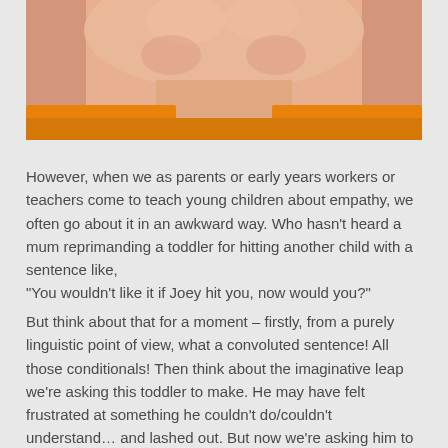[Figure (photo): Close-up photo of a young child (toddler) wearing an orange/yellow top, showing the lower part of the face and neck area. The image is cropped showing just the chin, neck, and collar area.]
However, when we as parents or early years workers or teachers come to teach young children about empathy, we often go about it in an awkward way. Who hasn't heard a mum reprimanding a toddler for hitting another child with a sentence like,
"You wouldn't like it if Joey hit you, now would you?"
But think about that for a moment – firstly, from a purely linguistic point of view, what a convoluted sentence! All those conditionals! Then think about the imaginative leap we're asking this toddler to make. He may have felt frustrated at something he couldn't do/couldn't understand… and lashed out. But now we're asking him to imagine another child feeling that thing that he himself can't understand, to imagine that child lashing out